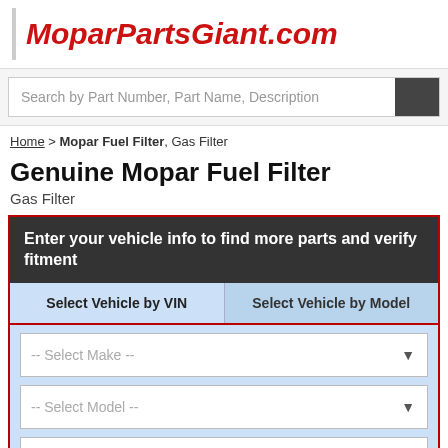MoparPartsGiant.com
Search by Part Number, Part Name, Description
Home > Mopar Fuel Filter, Gas Filter
Genuine Mopar Fuel Filter
Gas Filter
Enter your vehicle info to find more parts and verify fitment
Select Vehicle by VIN | Select Vehicle by Model
-- Select Make --
-- Select Model --
-- Select Year --